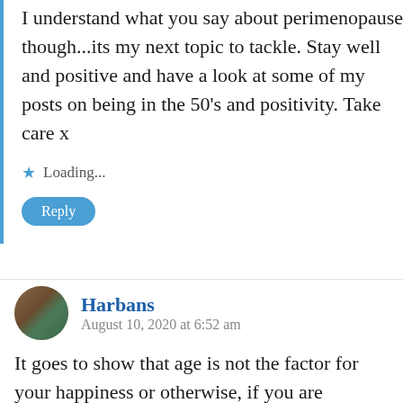I understand what you say about perimenopause though...its my next topic to tackle. Stay well and positive and have a look at some of my posts on being in the 50's and positivity. Take care x
Loading...
Reply
Harbans
August 10, 2020 at 6:52 am
It goes to show that age is not the factor for your happiness or otherwise, if you are positive oriented you can weather any storm that comes your path and be happy come what may. There are the people